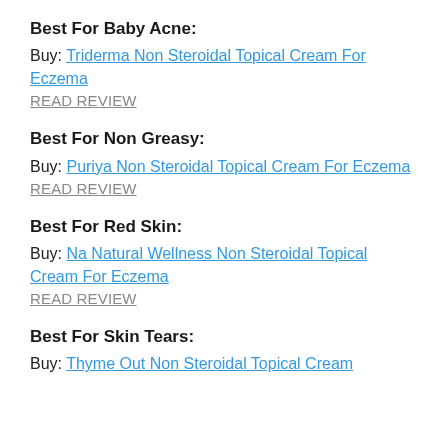Best For Baby Acne:
Buy: Triderma Non Steroidal Topical Cream For Eczema
READ REVIEW
Best For Non Greasy:
Buy: Puriya Non Steroidal Topical Cream For Eczema
READ REVIEW
Best For Red Skin:
Buy: Na Natural Wellness Non Steroidal Topical Cream For Eczema
READ REVIEW
Best For Skin Tears:
Buy: Thyme Out Non Steroidal Topical Cream